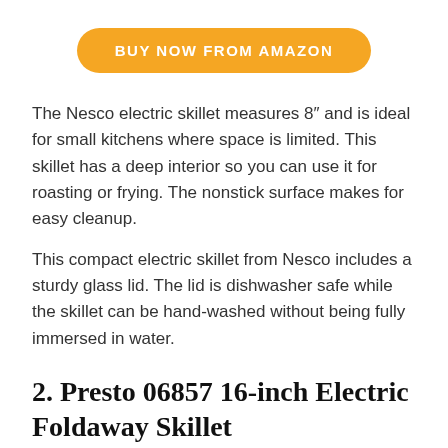[Figure (other): Orange rounded rectangle button with white bold uppercase text reading 'BUY NOW FROM AMAZON']
The Nesco electric skillet measures 8″ and is ideal for small kitchens where space is limited. This skillet has a deep interior so you can use it for roasting or frying. The nonstick surface makes for easy cleanup.
This compact electric skillet from Nesco includes a sturdy glass lid. The lid is dishwasher safe while the skillet can be hand-washed without being fully immersed in water.
2. Presto 06857 16-inch Electric Foldaway Skillet